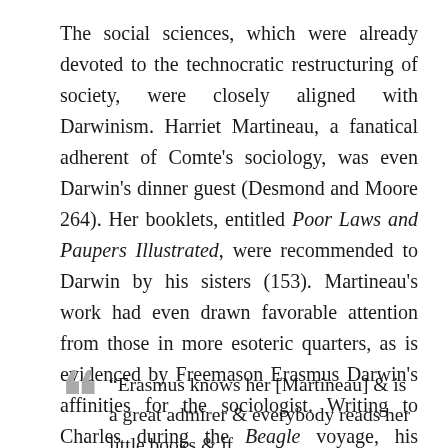The social sciences, which were already devoted to the technocratic restructuring of society, were closely aligned with Darwinism. Harriet Martineau, a fanatical adherent of Comte's sociology, was even Darwin's dinner guest (Desmond and Moore 264). Her booklets, entitled Poor Laws and Paupers Illustrated, were recommended to Darwin by his sisters (153). Martineau's work had even drawn favorable attention from those in more esoteric quarters, as is evidenced by Freemason Erasmus Darwin's affinities for the sociologist. Writing to Charles during the Beagle voyage, his sisters commented on Erasmus' admiration of Martineau:
“Erasmus knows her [Martineau] & is a great admirer & everybody reads her little books & if